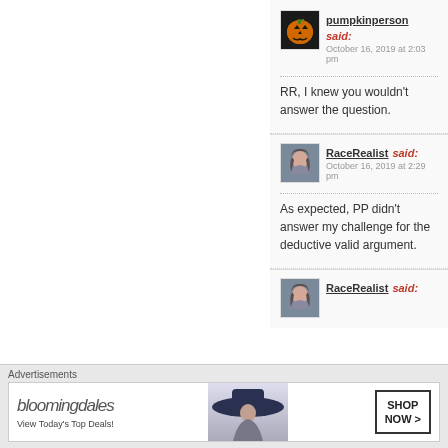pumpkinperson said: October 16, 2019 at 2:03 pm
RR, I knew you wouldn't answer the question.
RaceRealist said: October 16, 2019 at 2:29 pm
As expected, PP didn't answer my challenge for the deductive valid argument.
RaceRealist said:
Advertisements
[Figure (infographic): Bloomingdale's advertisement banner: 'bloomingdales View Today's Top Deals!' with SHOP NOW > button and woman in wide hat]